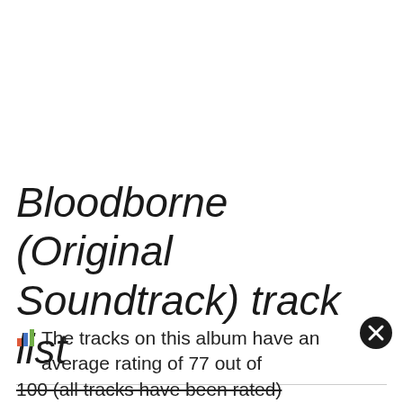Bloodborne (Original Soundtrack) track list
The tracks on this album have an average rating of 77 out of 100 (all tracks have been rated).